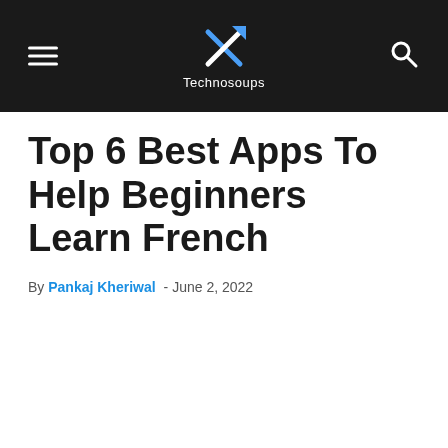Technosoups
Top 6 Best Apps To Help Beginners Learn French
By Pankaj Kheriwal - June 2, 2022